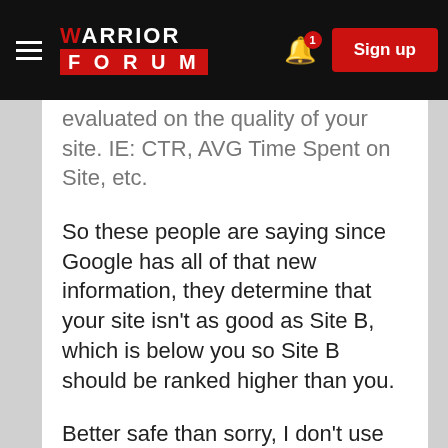WARRIOR FORUM — Sign up
evaluated on the quality of your site. IE: CTR, AVG Time Spent on Site, etc.
So these people are saying since Google has all of that new information, they determine that your site isn't as good as Site B, which is below you so Site B should be ranked higher than you.
Better safe than sorry, I don't use Webmaster Tools and I only use Analytics on one of my sites.